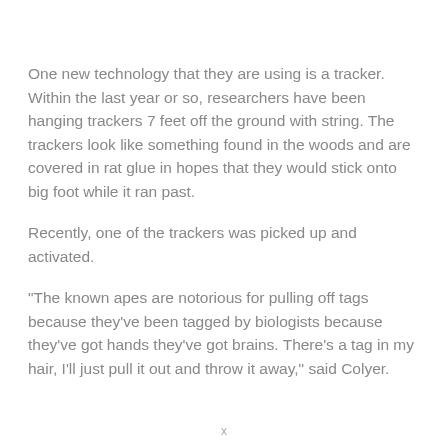One new technology that they are using is a tracker. Within the last year or so, researchers have been hanging trackers 7 feet off the ground with string. The trackers look like something found in the woods and are covered in rat glue in hopes that they would stick onto big foot while it ran past.
Recently, one of the trackers was picked up and activated.
"The known apes are notorious for pulling off tags because they've been tagged by biologists because they've got hands they've got brains. There's a tag in my hair, I'll just pull it out and throw it away," said Colyer.
x